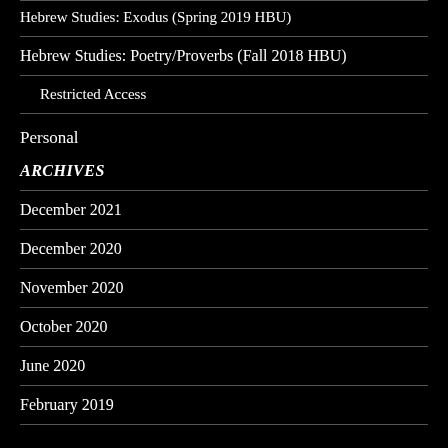Hebrew Studies: Exodus (Spring 2019 HBU)
Hebrew Studies: Poetry/Proverbs (Fall 2018 HBU)
Restricted Access
Personal
ARCHIVES
December 2021
December 2020
November 2020
October 2020
June 2020
February 2019